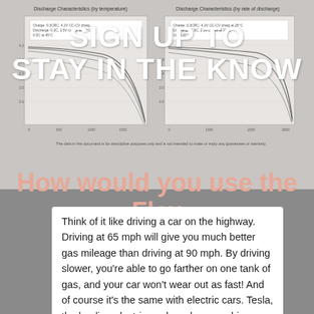[Figure (continuous-plot): Discharge Characteristics charts (by temperature and by rate of discharge) shown as background]
SIGN UP TO STAY IN THE KNOW
How would you use the Flex Power Station?
Think of it like driving a car on the highway. Driving at 65 mph will give you much better gas mileage than driving at 90 mph. By driving slower, you're able to go farther on one tank of gas, and your car won't wear out as fast! And of course it's the same with electric cars. Tesla, the leading electric car brand, warns drivers that engaging ludicrous mode will cause accelerated wear of the battery.
Select one...
Your email
CONTINUE
The data in this document is for descriptive purposes only and is not intended to make or imply any guarantees or warranty.